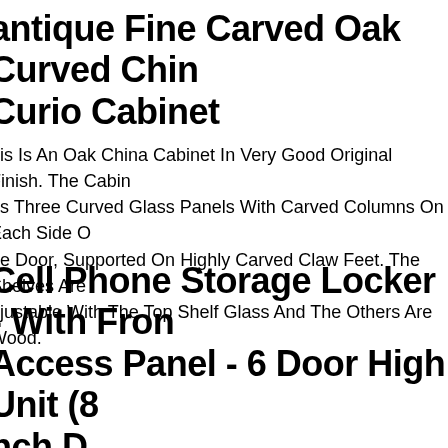Antique Fine Carved Oak Curved China Curio Cabinet
This Is An Oak China Cabinet In Very Good Original Finish. The Cabinet Has Three Curved Glass Panels With Carved Columns On Each Side Of The Door, Supported On Highly Carved Claw Feet. The Shelves Are Adjustable With The Top Shelf Glass And The Others Are Wood.
Cell Phone Storage Locker - With Front Access Panel - 6 Door High Unit (8 Inch D
Locker Key Wristbands. Cell Phone Locker Applications Video. Available Three (3), Four (4), Five (5), Six (6) And Seven (7) Doors High And Two, Three (3), Four (4) And Five (5) Doors Wide With Standard A Size Doors (6-12 W X 5-14 H) And Larger B Size Doors (13 W X 5-14 H).